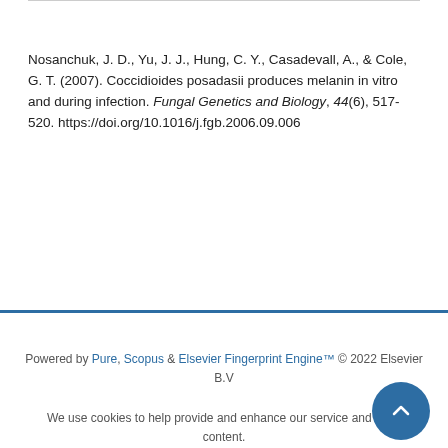Nosanchuk, J. D., Yu, J. J., Hung, C. Y., Casadevall, A., & Cole, G. T. (2007). Coccidioides posadasii produces melanin in vitro and during infection. Fungal Genetics and Biology, 44(6), 517-520. https://doi.org/10.1016/j.fgb.2006.09.006
Powered by Pure, Scopus & Elsevier Fingerprint Engine™ © 2022 Elsevier B.V
We use cookies to help provide and enhance our service and tailor content. By continuing you agree to the use of cookies
Log in to Pure
About web accessibility